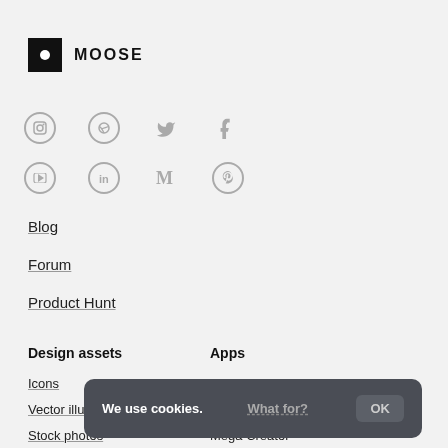MOOSE
[Figure (logo): Moose logo: black square with white circle dot, followed by bold text MOOSE]
[Figure (infographic): Two rows of social media icons: Row 1: Instagram (circle), Dribbble, Twitter, Facebook. Row 2: YouTube (play button), LinkedIn, Medium (M), Pinterest]
Blog
Forum
Product Hunt
Design assets
Apps
Icons
Lunacy
Vector illustrations
Icons
Stock photos
Mega Creator
We use cookies. What for? OK